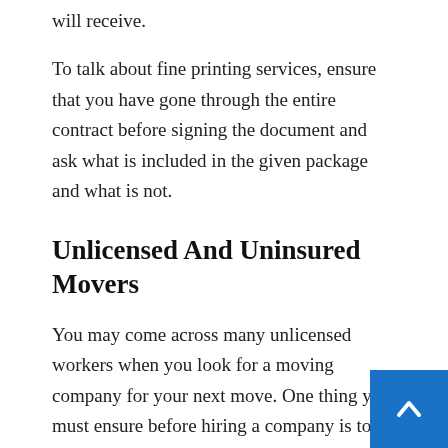will receive.
To talk about fine printing services, ensure that you have gone through the entire contract before signing the document and ask what is included in the given package and what is not.
Unlicensed And Uninsured Movers
You may come across many unlicensed workers when you look for a moving company for your next move. One thing you must ensure before hiring a company is to have a comprehensive check on the workers you are employing. You must make sure that you insure your belongings or the drivers.